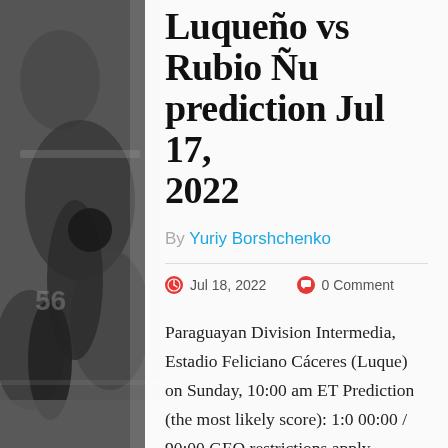[Figure (photo): Black and white photograph of American football players in action, partially visible on the left side of the page behind the white content panel]
Luqueño vs Rubio Ñu prediction Jul 17, 2022
By Yuriy Borshchenko
Jul 18, 2022   0 Comment
Paraguayan Division Intermedia, Estadio Feliciano Cáceres (Luque) on Sunday, 10:00 am ET Prediction (the most likely score): 1:0 00:00 / 90:00 GEO restrictions apply.